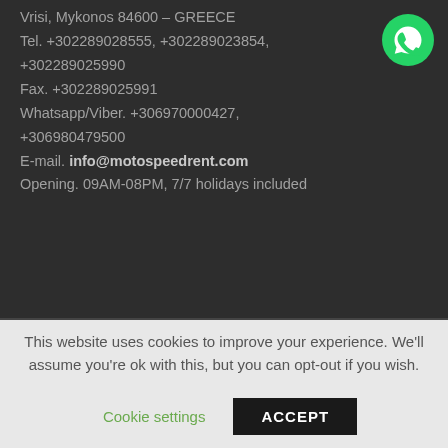Vrisi, Mykonos 84600 – GREECE
Tel. +302289028555, +302289023854, +302289025990
Fax. +302289025991
Whatsapp/Viber. +306970000427, +306980479500
E-mail. info@motospeedrent.com
Opening. 09AM-08PM, 7/7 holidays included
[Figure (logo): WhatsApp green chat bubble logo icon]
This website uses cookies to improve your experience. We'll assume you're ok with this, but you can opt-out if you wish.
Cookie settings   ACCEPT